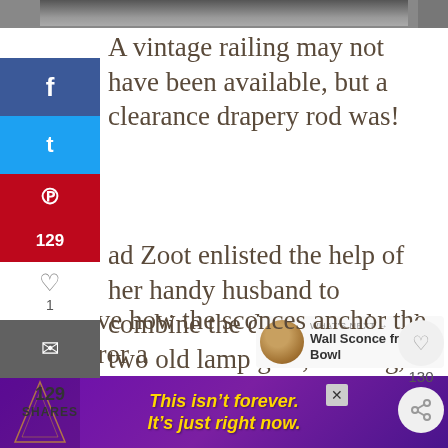[Figure (photo): Top portion of a photo showing a textured stone or concrete surface]
A vintage railing may not have been available, but a clearance drapery rod was!
...ad Zoot enlisted the help of her handy husband to combine the drapery rod with two old lamp guts, cording, wire nuts, and patience" to create their own RH-inspired sconce.
I love how the sconces anchor the mirror a...
[Figure (infographic): Ad banner: 'This isn't forever. It's just right now.' on purple background]